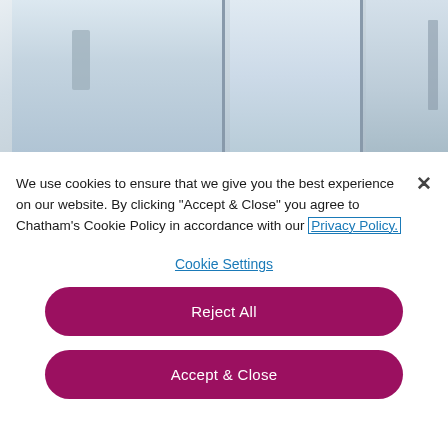[Figure (photo): Photo of glass windows/doors with vertical metal frames, light grey and blue-grey tones, partial view of interior blinds]
We use cookies to ensure that we give you the best experience on our website. By clicking "Accept & Close" you agree to Chatham's Cookie Policy in accordance with our Privacy Policy.
Cookie Settings
Reject All
Accept & Close